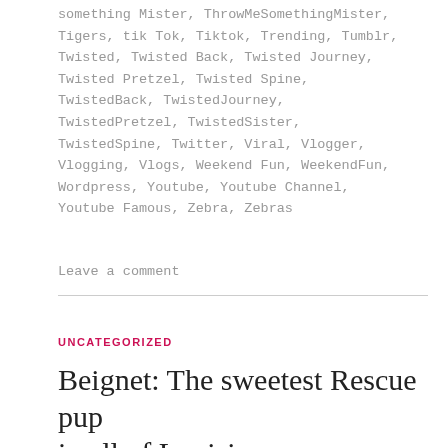something Mister, ThrowMeSomethingMister, Tigers, tik Tok, Tiktok, Trending, Tumblr, Twisted, Twisted Back, Twisted Journey, Twisted Pretzel, Twisted Spine, TwistedBack, TwistedJourney, TwistedPretzel, TwistedSister, TwistedSpine, Twitter, Viral, Vlogger, Vlogging, Vlogs, Weekend Fun, WeekendFun, Wordpress, Youtube, Youtube Channel, Youtube Famous, Zebra, Zebras
Leave a comment
UNCATEGORIZED
Beignet: The sweetest Rescue pup in all of Louisiana